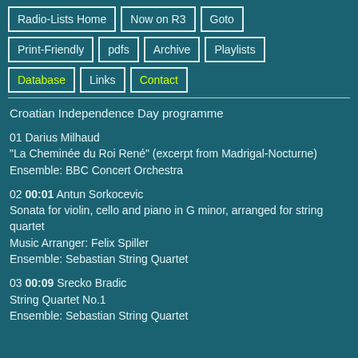Radio-Lists Home
Now on R3
Goto
Print-Friendly
pdfs
Archive
Playlists
Database
Links
Contact
Croatian Independence Day programme
01 Darius Milhaud
"La Cheminée du Roi René" (excerpt from Madrigal-Nocturne)
Ensemble: BBC Concert Orchestra
02 00:01 Antun Sorkocevic
Sonata for violin, cello and piano in G minor, arranged for string quartet
Music Arranger: Felix Spiller
Ensemble: Sebastian String Quartet
03 00:09 Srecko Bradic
String Quartet No.1
Ensemble: Sebastian String Quartet